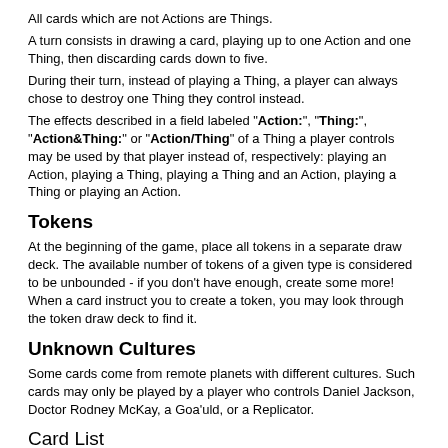All cards which are not Actions are Things.
A turn consists in drawing a card, playing up to one Action and one Thing, then discarding cards down to five.
During their turn, instead of playing a Thing, a player can always chose to destroy one Thing they control instead.
The effects described in a field labeled "Action:", "Thing:", "Action&Thing:" or "Action/Thing" of a Thing a player controls may be used by that player instead of, respectively: playing an Action, playing a Thing, playing a Thing and an Action, playing a Thing or playing an Action.
Tokens
At the beginning of the game, place all tokens in a separate draw deck. The available number of tokens of a given type is considered to be unbounded - if you don't have enough, create some more! When a card instruct you to create a token, you may look through the token draw deck to find it.
Unknown Cultures
Some cards come from remote planets with different cultures. Such cards may only be played by a player who controls Daniel Jackson, Doctor Rodney McKay, a Goa'uld, or a Replicator.
Card List